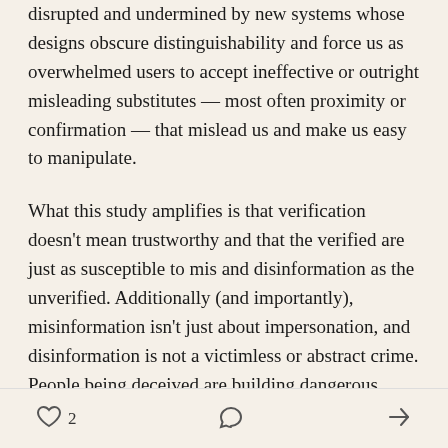disrupted and undermined by new systems whose designs obscure distinguishability and force us as overwhelmed users to accept ineffective or outright misleading substitutes — most often proximity or confirmation — that mislead us and make us easy to manipulate.
What this study amplifies is that verification doesn't mean trustworthy and that the verified are just as susceptible to mis and disinformation as the unverified. Additionally (and importantly), misinformation isn't just about impersonation, and disinformation is not a victimless or abstract crime. People being deceived are building dangerous beliefs and taking dangerous action — violence
♡ 2  [comment icon]  [share icon]